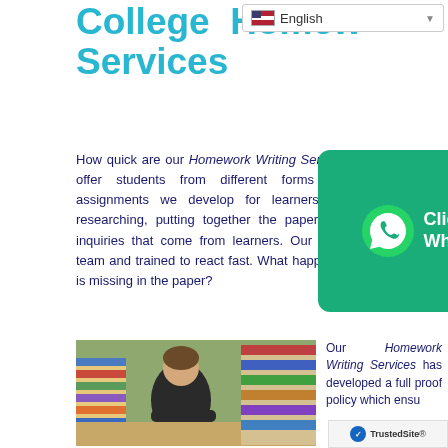College Homework Writing Services
[Figure (screenshot): WhatsApp click button overlay with green background, phone icon, and text 'Click here to WhatsApp us']
How quick are our Homework Writing Services? The company offer students from different forms of delivering the assignments we develop for learners. We are swift in researching, putting together the paper, and responding to inquiries that come from learners. Our authors and support team and trained to react fast. What happens when something is missing in the paper?
[Figure (photo): Student sitting at a desk overwhelmed by large stacks of books on either side, writing or studying]
Our Homework Writing Services has developed a full proof policy which ensu...